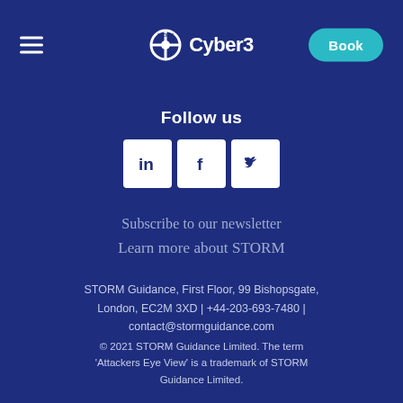STORM Cyber3 | Book
Follow us
[Figure (illustration): Three social media icons: LinkedIn (in), Facebook (f), Twitter (bird icon), displayed as white square buttons with dark blue icons.]
Subscribe to our newsletter
Learn more about STORM
STORM Guidance, First Floor, 99 Bishopsgate, London, EC2M 3XD | +44-203-693-7480 | contact@stormguidance.com
© 2021 STORM Guidance Limited. The term 'Attackers Eye View' is a trademark of STORM Guidance Limited.